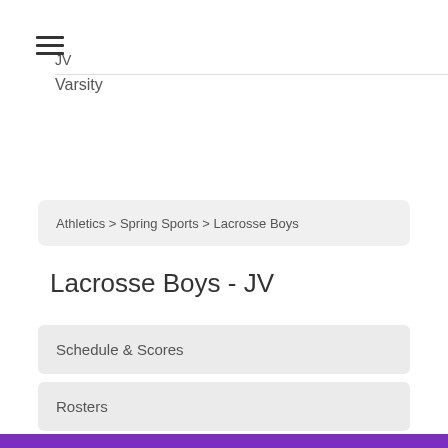[Figure (other): Hamburger menu icon (three horizontal lines)]
JV
Varsity
Athletics > Spring Sports > Lacrosse Boys
Lacrosse Boys - JV
Schedule & Scores
Rosters